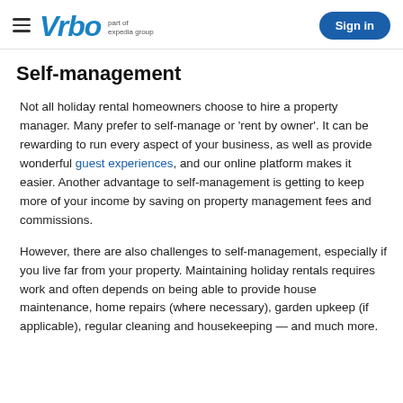Vrbo part of expedia group | Sign in
Self-management
Not all holiday rental homeowners choose to hire a property manager. Many prefer to self-manage or ‘rent by owner’. It can be rewarding to run every aspect of your business, as well as provide wonderful guest experiences, and our online platform makes it easier. Another advantage to self-management is getting to keep more of your income by saving on property management fees and commissions.
However, there are also challenges to self-management, especially if you live far from your property. Maintaining holiday rentals requires work and often depends on being able to provide house maintenance, home repairs (where necessary), garden upkeep (if applicable), regular cleaning and housekeeping — and much more.